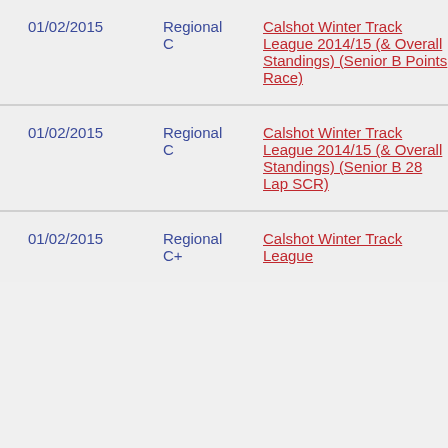| Date | Grade | Event |  |  |
| --- | --- | --- | --- | --- |
| 01/02/2015 | Regional C | Calshot Winter Track League 2014/15 (& Overall Standings) (Senior B Points Race) | 4 | 0 |
| 01/02/2015 | Regional C | Calshot Winter Track League 2014/15 (& Overall Standings) (Senior B 28 Lap SCR) | 3 | 0 |
| 01/02/2015 | Regional C+ | Calshot Winter Track League | 3 | 10 |